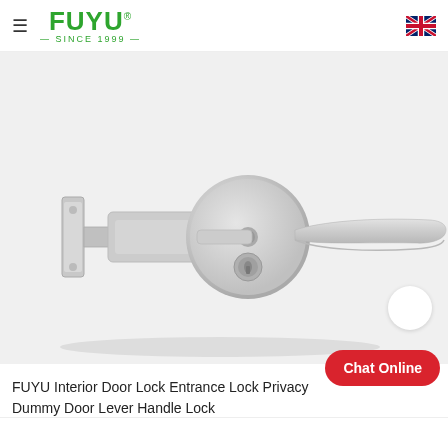FUYU — SINCE 1999
[Figure (photo): A stainless steel door lever handle lock with cylindrical rosette and latch bolt mechanism, shown on a white/light grey background. The FUYU brand door lock shows a lever handle, keyway, and latch assembly.]
FUYU Interior Door Lock Entrance Lock Privacy Dummy Door Lever Handle Lock
Chat Online